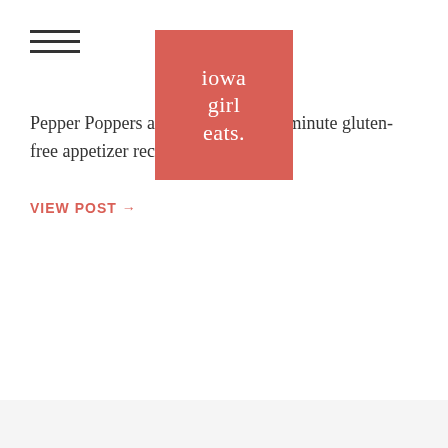[Figure (logo): Iowa Girl Eats logo — red/salmon colored rectangle with white text reading 'iowa girl eats.']
Pepper Poppers are a satisfying, 20 minute gluten-free appetizer recipe.
VIEW POST →
Warm Fig and Prosciutto Goat